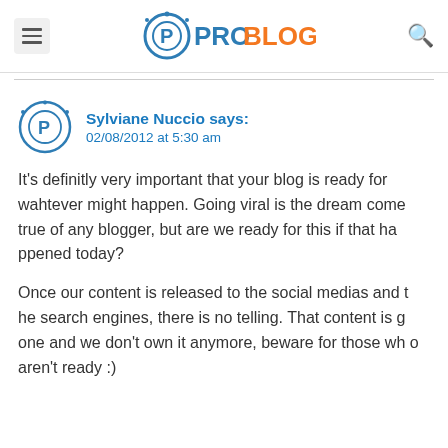ProBlogger
Sylviane Nuccio says:
02/08/2012 at 5:30 am
It's definitly very important that your blog is ready for wahtever might happen. Going viral is the dream come true of any blogger, but are we ready for this if that happened today?
Once our content is released to the social medias and the search engines, there is no telling. That content is gone and we don't own it anymore, beware for those who aren't ready :)